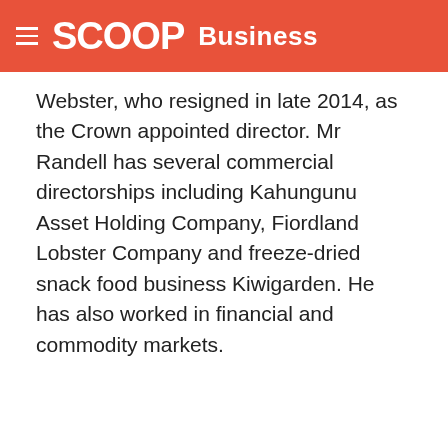SCOOP Business
Webster, who resigned in late 2014, as the Crown appointed director. Mr Randell has several commercial directorships including Kahungunu Asset Holding Company, Fiordland Lobster Company and freeze-dried snack food business Kiwigarden. He has also worked in financial and commodity markets.